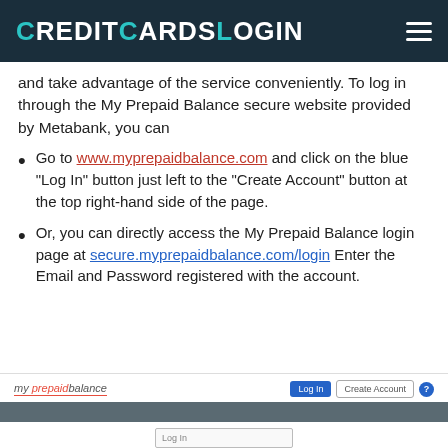CreditCardsLogin
and take advantage of the service conveniently. To log in through the My Prepaid Balance secure website provided by Metabank, you can
Go to www.myprepaidbalance.com and click on the blue “Log In” button just left to the “Create Account” button at the top right-hand side of the page.
Or, you can directly access the My Prepaid Balance login page at secure.myprepaidbalance.com/login Enter the Email and Password registered with the account.
[Figure (screenshot): Screenshot of the My Prepaid Balance website showing the top navigation bar with logo, Log In button, Create Account button, help icon, a dark gray navigation bar, and a Log In field below.]